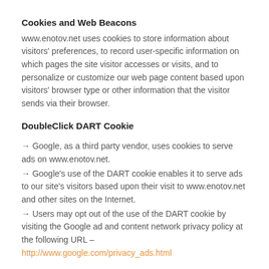Cookies and Web Beacons
www.enotov.net uses cookies to store information about visitors' preferences, to record user-specific information on which pages the site visitor accesses or visits, and to personalize or customize our web page content based upon visitors' browser type or other information that the visitor sends via their browser.
DoubleClick DART Cookie
→ Google, as a third party vendor, uses cookies to serve ads on www.enotov.net.
→ Google's use of the DART cookie enables it to serve ads to our site's visitors based upon their visit to www.enotov.net and other sites on the Internet.
→ Users may opt out of the use of the DART cookie by visiting the Google ad and content network privacy policy at the following URL – http://www.google.com/privacy_ads.html